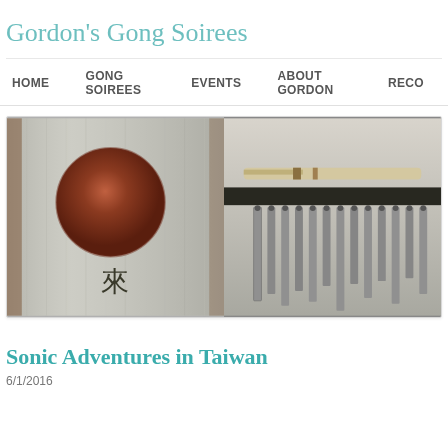Gordon's Gong Soirees
HOME   GONG SOIREES   EVENTS   ABOUT GORDON   RECO...
[Figure (photo): Two side-by-side close-up photos: left shows a gong with a dark circular center and a Chinese character inscription; right shows metallic chime tubes or pipes arranged in a row with a mallet]
Sonic Adventures in Taiwan
6/1/2016